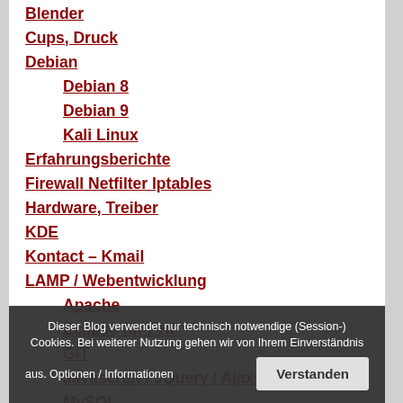Blender
Cups, Druck
Debian
Debian 8
Debian 9
Kali Linux
Erfahrungsberichte
Firewall Netfilter Iptables
Hardware, Treiber
KDE
Kontact – Kmail
LAMP / Webentwicklung
Apache
Eclipse für PHP
GIT
Javascript / JQuery / Ajax
MySQL
PHP
phpMyAdmin
SVN
vsftp
LDAP
LibreOffice, OpenOffice
Dieser Blog verwendet nur technisch notwendige (Session-) Cookies. Bei weiterer Nutzung gehen wir von Ihrem Einverständnis aus. Optionen / Informationen  Verstanden